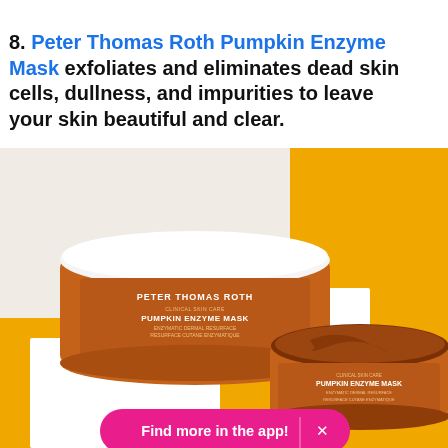8. Peter Thomas Roth Pumpkin Enzyme Mask exfoliates and eliminates dead skin cells, dullness, and impurities to leave your skin beautiful and clear.
[Figure (photo): Photo of two Peter Thomas Roth Pumpkin Enzyme Mask jars — one closed with white lid on a white block, one open showing the orange-brown mask product — set against a yellow and white geometric background. A pink 'Find more in the app!' button with an X is overlaid at the bottom.]